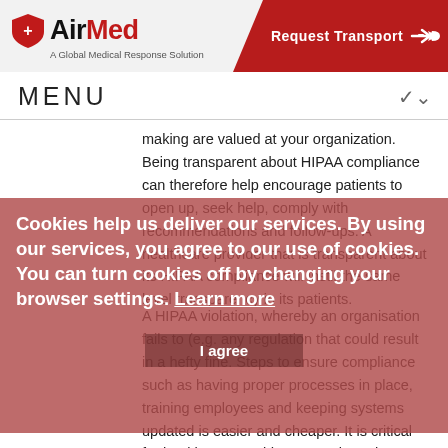[Figure (logo): AirMed logo with shield icon and tagline 'A Global Medical Response Solution']
[Figure (infographic): Red diagonal banner with 'Request Transport' text and airplane icon]
MENU
making are valued at your organization. Being transparent about HIPAA compliance can therefore help encourage patients to open up, seek help, comply with recommendations and follow-ups. A healthcare provider that is transparent about its HIPAA compliance will instil the same level transparency in its patients.
A HIPAA violation, whereby an organisation fails to (e.g. any regulation that could result in a hefty fine. Steps to ensure compliance such as having proper processes in place, training employees and keeping systems updated is easier and cheaper. It is critical for healthcare providers not to breach any standards set forth by HIPAA, as
Cookies help us deliver our services. By using our services, you agree to our use of cookies. You can turn cookies off by changing your browser settings. Learn more
I agree